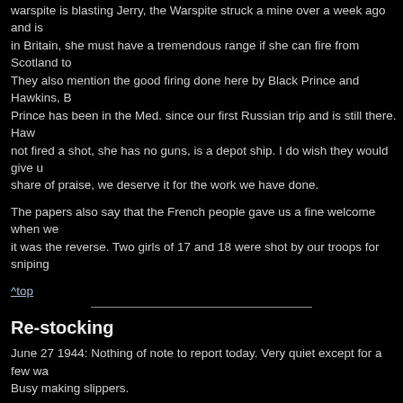warspite is blasting Jerry, the Warspite struck a mine over a week ago and is in Britain, she must have a tremendous range if she can fire from Scotland to They also mention the good firing done here by Black Prince and Hawkins, B Prince has been in the Med. since our first Russian trip and is still there. Haw not fired a shot, she has no guns, is a depot ship. I do wish they would give u share of praise, we deserve it for the work we have done.
The papers also say that the French people gave us a fine welcome when we it was the reverse. Two girls of 17 and 18 were shot by our troops for sniping
^top
Re-stocking
June 27 1944: Nothing of note to report today. Very quiet except for a few wa Busy making slippers.
June 28 and 29 1944: Rather quiet.
June 30 1944: Returned to Portsmouth to re-store ammunition and repair gu
July 1 1944: Very quiet.
July 2 1944: Went on leave, how happy I felt, couldn't get home quickly enoug
July 3 1944: Arrived home 5.30 in morning, so nice to be with my wife and fa to see my Dad, Mam and family.
July 4 and 5 1944: Did all the usual rounds and tried to see everybody at onc the night of the 5th for diary...